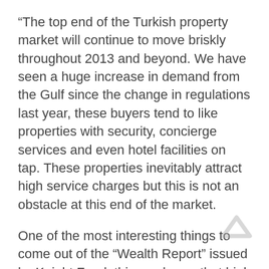“The top end of the Turkish property market will continue to move briskly throughout 2013 and beyond. We have seen a huge increase in demand from the Gulf since the change in regulations last year, these buyers tend to like properties with security, concierge services and even hotel facilities on tap. These properties inevitably attract high service charges but this is not an obstacle at this end of the market.
One of the most interesting things to come out of the “Wealth Report” issued by Knight Frank this week was that high net worth individuals now rank lifestyle as their number one investment criteria for a second home, above investment return and favourable tax regime. It’s clear that Turkey scores well for lifestyle, particularly with the higher end individuals from the Gulf where buyers enjoy the